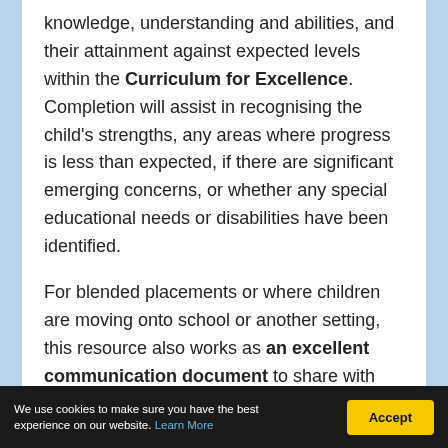knowledge, understanding and abilities, and their attainment against expected levels within the Curriculum for Excellence. Completion will assist in recognising the child's strengths, any areas where progress is less than expected, if there are significant emerging concerns, or whether any special educational needs or disabilities have been identified.
For blended placements or where children are moving onto school or another setting, this resource also works as an excellent communication document to share with parents and other professionals involved or to
We use cookies to make sure you have the best experience on our website. Learn More